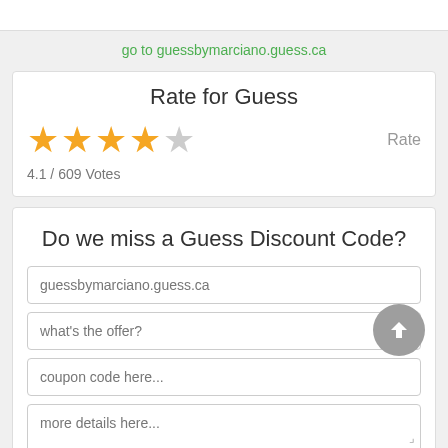go to guessbymarciano.guess.ca
Rate for Guess
4.1 / 609 Votes
Do we miss a Guess Discount Code?
guessbymarciano.guess.ca
what's the offer?
coupon code here...
more details here...